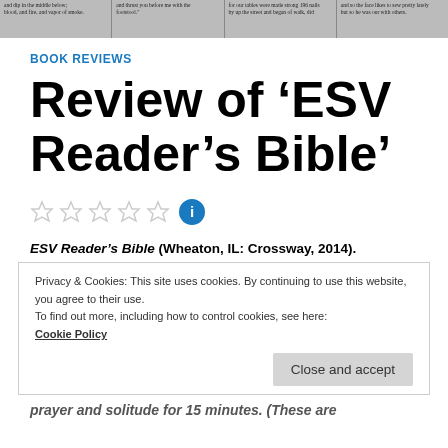[Figure (screenshot): Top banner strip showing newspaper-style columns of text in grayscale]
BOOK REVIEWS
Review of ‘ESV Reader’s Bible’
[Figure (other): Five empty star rating icons followed by a blue info circle icon]
ESV Reader’s Bible (Wheaton, IL: Crossway, 2014).
Privacy & Cookies: This site uses cookies. By continuing to use this website, you agree to their use.
To find out more, including how to control cookies, see here:
Cookie Policy
[Close and accept button]
prayer and solitude for 15 minutes. (These are